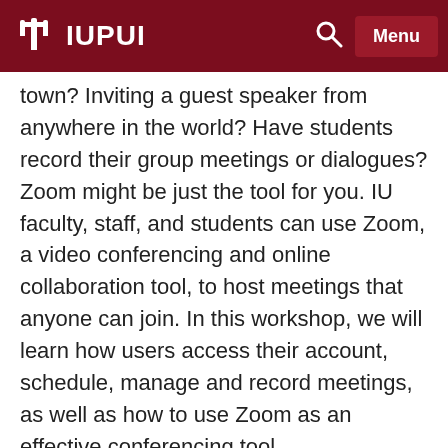IUPUI
town? Inviting a guest speaker from anywhere in the world? Have students record their group meetings or dialogues? Zoom might be just the tool for you. IU faculty, staff, and students can use Zoom, a video conferencing and online collaboration tool, to host meetings that anyone can join. In this workshop, we will learn how users access their account, schedule, manage and record meetings, as well as how to use Zoom as an effective conferencing tool.
PARTNER OPPORTUNITIES